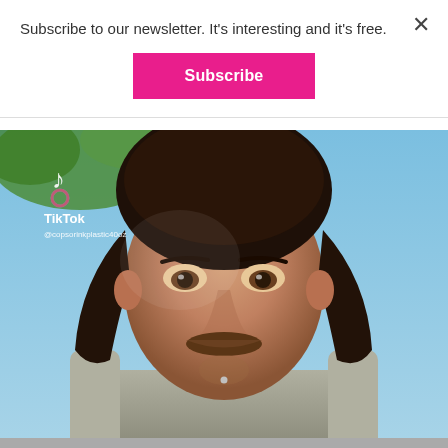Subscribe to our newsletter. It's interesting and it's free.
Subscribe
[Figure (screenshot): TikTok video screenshot showing a man with long dark hair, mustache, chin piercing, wearing a gray sleeveless shirt, outdoors against a blue sky. TikTok logo and handle @copsorinkplastic40oz visible in upper left.]